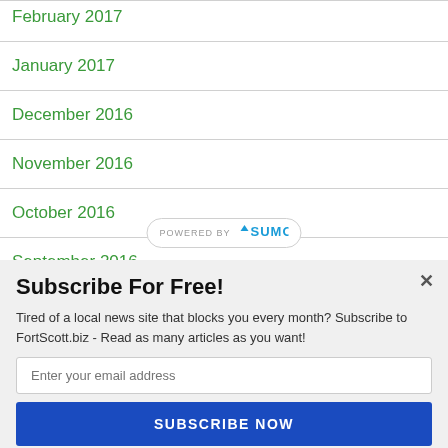February 2017
January 2017
December 2016
November 2016
October 2016
September 2016
August 2016
July 2016
Subscribe For Free!
Tired of a local news site that blocks you every month? Subscribe to FortScott.biz - Read as many articles as you want!
Enter your email address
SUBSCRIBE NOW